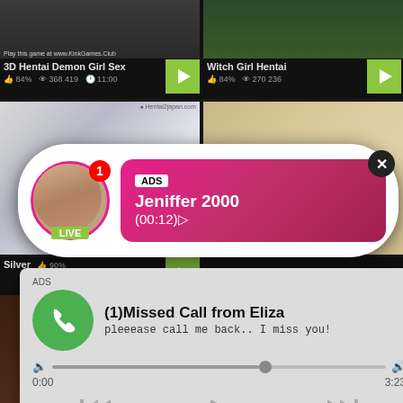[Figure (screenshot): Adult video thumbnail row - left: 3D Hentai Demon Girl Sex, right: Witch Girl Hentai]
3D Hentai Demon Girl Sex
84%  368 419  11:00
Witch Girl Hentai
84%  270 236
[Figure (screenshot): Hentai anime thumbnails - left and right panels]
[Figure (infographic): Live ad popup: avatar with LIVE badge, notification badge showing 1, pink gradient card showing ADS label, name Jeniffer 2000, time (00:12), close X button]
Silver
90%
[Figure (infographic): Missed call notification popup: green phone icon, ADS label, title (1)Missed Call from Eliza, subtitle pleeease call me back.. I miss you!, audio progress bar 0:00 to 3:23, playback controls]
ADS
(1)Missed Call from Eliza
pleeease call me back.. I miss you!
0:00
3:23